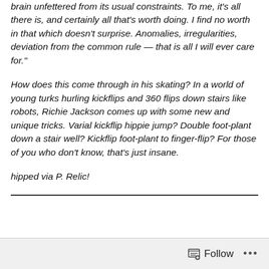brain unfettered from its usual constraints. To me, it's all there is, and certainly all that's worth doing. I find no worth in that which doesn't surprise. Anomalies, irregularities, deviation from the common rule — that is all I will ever care for."
How does this come through in his skating? In a world of young turks hurling kickflips and 360 flips down stairs like robots, Richie Jackson comes up with some new and unique tricks. Varial kickflip hippie jump? Double foot-plant down a stair well? Kickflip foot-plant to finger-flip? For those of you who don't know, that's just insane.
hipped via P. Relic!
Follow ···